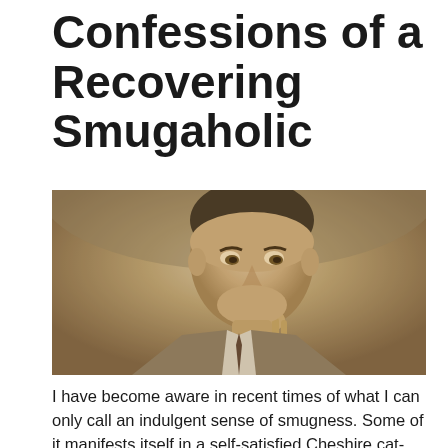Confessions of a Recovering Smugaholic
[Figure (photo): Vintage sepia-toned photograph of a smiling man in a suit holding a pipe to his lips with a self-satisfied, smug expression.]
I have become aware in recent times of what I can only call an indulgent sense of smugness. Some of it manifests itself in a self-satisfied Cheshire cat-like enjoyment of my nice house, nice family and